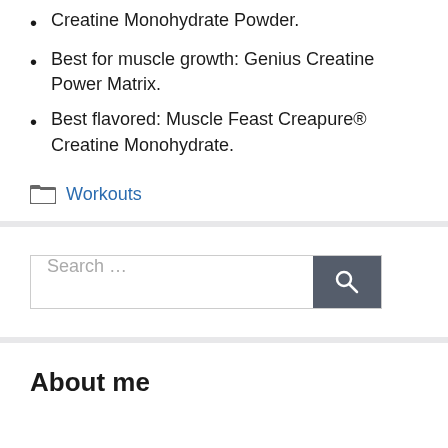Creatine Monohydrate Powder.
Best for muscle growth: Genius Creatine Power Matrix.
Best flavored: Muscle Feast Creapure® Creatine Monohydrate.
Categories: Workouts
Search ...
About me